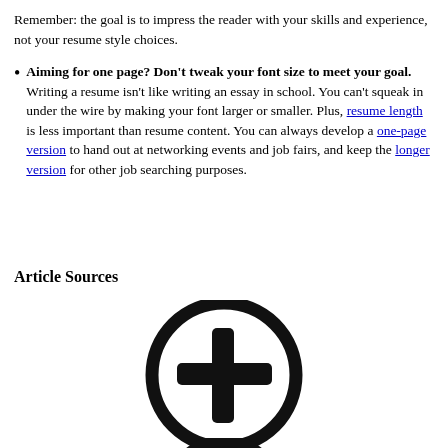Remember: the goal is to impress the reader with your skills and experience, not your resume style choices.
Aiming for one page? Don't tweak your font size to meet your goal. Writing a resume isn't like writing an essay in school. You can't squeak in under the wire by making your font larger or smaller. Plus, resume length is less important than resume content. You can always develop a one-page version to hand out at networking events and job fairs, and keep the longer version for other job searching purposes.
Article Sources
[Figure (illustration): A circle icon with a plus sign in the center, partially cut off at the bottom of the page, with a second circle partially visible below it.]